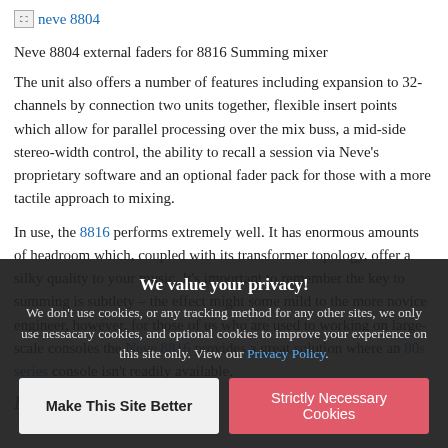[Figure (photo): Broken image placeholder icon with text link 'neve 8804']
Neve 8804 external faders for 8816 Summing mixer
The unit also offers a number of features including expansion to 32-channels by connection two units together, flexible insert points which allow for parallel processing over the mix buss, a mid-side stereo-width control, the ability to recall a session via Neve’s proprietary software and an optional fader pack for those with a more tactile approach to mixing.
In use, the 8816 performs extremely well. It has enormous amounts of headroom which, coupled with its transformer topology, offer a silky quality to your music. It’s important to remember the key to summing is subtlety – the effect might some mild to the more novice engineer, however, for those of us who are used to working on large-scale consoles the Neve 8816 provides a great solution where an 80s series console isn’t readily available.
Keywords
We value your privacy! We don’t use cookies, or any tracking method for any other sites, we only use nessacary cookies, and optional cookies to improve your experience on this site only. View our Privacy Policy.